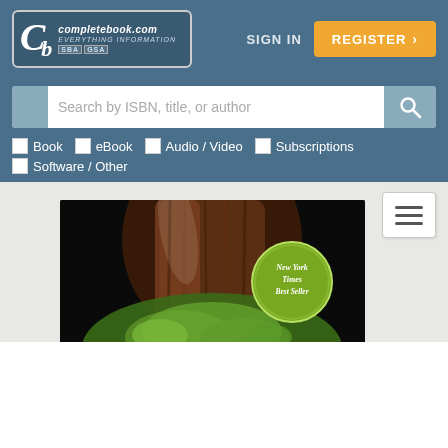completebook.com — EVERYTHING INFORMATION — SIGN IN — REGISTER
Search by ISBN, title, or author
Book
eBook
Audio / Video
Subscriptions
Software / Other
[Figure (photo): Book cover showing a large redwood/cedar tree trunk with moss and foliage at the base, photographed from below looking up, with a New York Times Best Seller badge/circle in the upper right area of the cover image.]